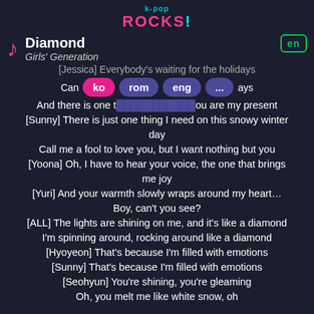k-pop ROCKS!
Diamond
Girls' Generation
[Jessica] Everybody's waiting for the holidays
Can't wait for those holidays
And there is one thing, you are my present
[Sunny] There is just one thing I need on this snowy winter day
Call me a fool to love you, but I want nothing but you
[Yoona] Oh, I have to hear your voice, the one that brings me joy
[Yuri] And your warmth slowly wraps around my heart…
Boy, can't you see?
[ALL] The lights are shining on me, and it's like a diamond
I'm spinning around, rocking around like a diamond
[Hyoyeon] That's because I'm filled with emotions
[Sunny] That's because I'm filled with emotions
[Seohyun] You're shining, you're gleaming
Oh, you melt me like white snow, oh